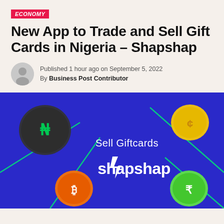ECONOMY
New App to Trade and Sell Gift Cards in Nigeria – Shapshap
Published 1 hour ago on September 5, 2022
By Business Post Contributor
[Figure (illustration): Shapshap app promotional banner on a dark blue background featuring currency coins (Naira, Bitcoin, Rupee, Cedis) and the text 'Sell Giftcards shapshap' with a lightning bolt logo]